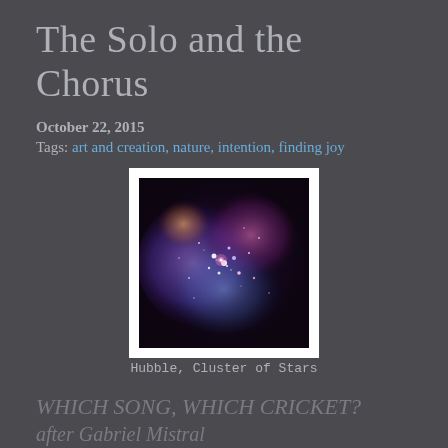The Solo and the Chorus
October 22, 2015
Tags: art and creation, nature, intention, finding joy
[Figure (photo): Hubble telescope image of a cluster of stars and nebula, colorful purple, pink, blue and orange hues, framed in white.]
Hubble, Cluster of Stars
WHICH SONG, WHICH CRICKET?
after Gabriel Mistral
by Maggie Smith
I began as one cricket singing
one song. Soon we were all singing,
The dusk was unintelligible,